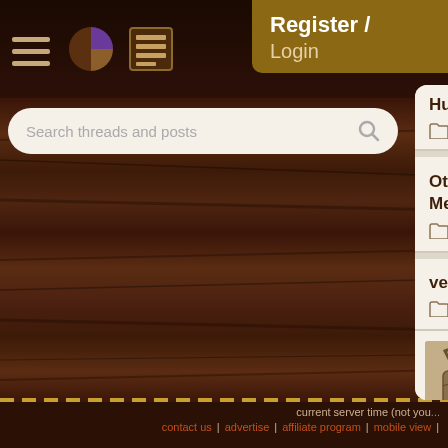Register / Login
Search threads and posts
Huds... 0 replies
Other Ecovillages' “Che... Methods
1 reply
very small community o...
5 replies
How do you guys feel a...
73 replies  [→□ 1, 2]
current server time (not you... | contact us | advertise | affiliate program | mobile view |